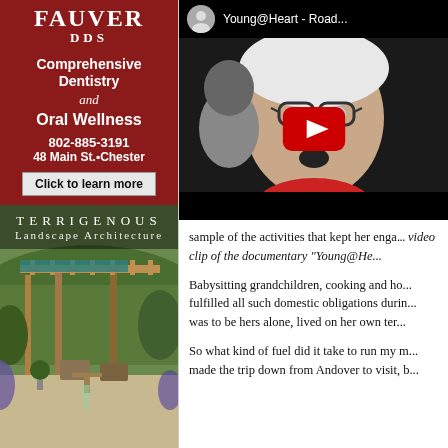[Figure (illustration): Fauver DDS advertisement on dark red background: Comprehensive Dentistry and Oral Wellness, 802-885-3191, 48 Main St., Chester, Click to learn more]
[Figure (photo): Terrigenous Landscape Architecture advertisement showing outdoor patio with pergola, lounge chairs, and garden]
[Figure (screenshot): YouTube video thumbnail for Young@Heart - Road... documentary showing an elderly woman with glasses and a red YouTube play button overlay]
sample of the activities that kept her engaged. video clip of the documentary "Young@He...
Babysitting grandchildren, cooking and ho... fulfilled all such domestic obligations durin... was to be hers alone, lived on her own ter...
So what kind of fuel did it take to run my m... made the trip down from Andover to visit, b...